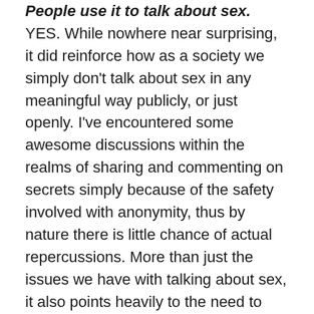People use it to talk about sex. YES. While nowhere near surprising, it did reinforce how as a society we simply don't talk about sex in any meaningful way publicly, or just openly. I've encountered some awesome discussions within the realms of sharing and commenting on secrets simply because of the safety involved with anonymity, thus by nature there is little chance of actual repercussions. More than just the issues we have with talking about sex, it also points heavily to the need to talk about it. With so many posts and comments surrounding the broad topic, there is a longing and desire to talk about these things in safe spaces. Things that are otherwise seen as taboo or lurid in mixed company or more public venues where anonymity isn't a factor.
Even with outstanding community guidelines, people are still going to use the tool/service as they wish. Also